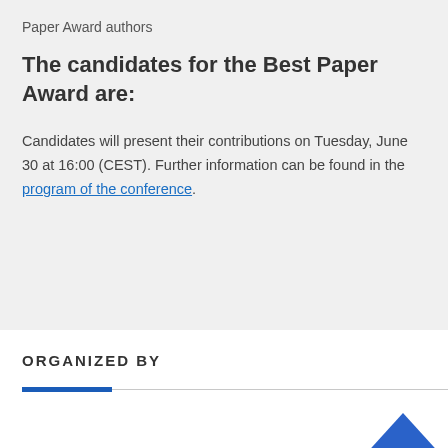Paper Award authors
The candidates for the Best Paper Award are:
Candidates will present their contributions on Tuesday, June 30 at 16:00 (CEST). Further information can be found in the program of the conference.
ORGANIZED BY